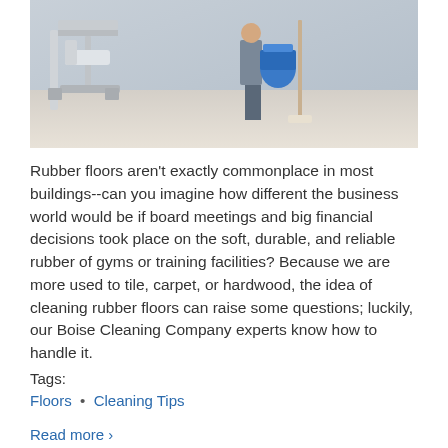[Figure (photo): Photo of a gym interior showing exercise equipment and a person holding a blue cleaning bucket with a mop, suggesting floor cleaning in a gym/training facility.]
Rubber floors aren't exactly commonplace in most buildings--can you imagine how different the business world would be if board meetings and big financial decisions took place on the soft, durable, and reliable rubber of gyms or training facilities? Because we are more used to tile, carpet, or hardwood, the idea of cleaning rubber floors can raise some questions; luckily, our Boise Cleaning Company experts know how to handle it.
Tags:
Floors  •  Cleaning Tips
Read more ›
TOP ⬆
5 WAYS TO AVOID DIRTY